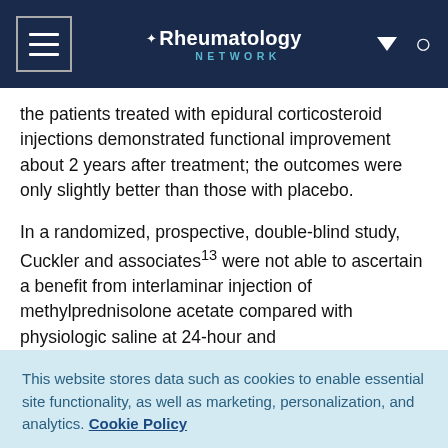Rheumatology Network
the patients treated with epidural corticosteroid injections demonstrated functional improvement about 2 years after treatment; the outcomes were only slightly better than those with placebo.
In a randomized, prospective, double-blind study, Cuckler and associates13 were not able to ascertain a benefit from interlaminar injection of methylprednisolone acetate compared with physiologic saline at 24-hour and
This website stores data such as cookies to enable essential site functionality, as well as marketing, personalization, and analytics. Cookie Policy
Accept
Deny